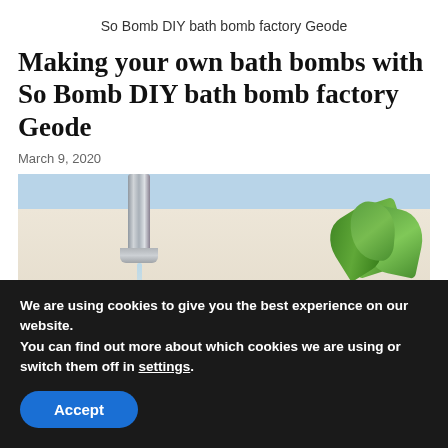So Bomb DIY bath bomb factory Geode
Making your own bath bombs with So Bomb DIY bath bomb factory Geode
March 9, 2020
[Figure (photo): A bathroom scene showing a chrome faucet with water running and a green plant in a white pot in the background]
We are using cookies to give you the best experience on our website.
You can find out more about which cookies we are using or switch them off in settings.
Accept